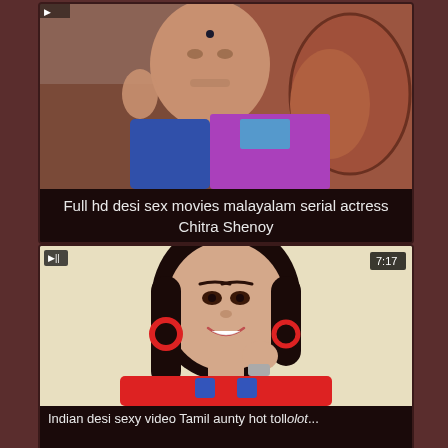[Figure (screenshot): Video thumbnail card 1: woman in traditional Indian attire on decorative chair, with caption 'Full hd desi sex movies malayalam serial actress Chitra Shenoy']
Full hd desi sex movies malayalam serial actress Chitra Shenoy
[Figure (screenshot): Video thumbnail card 2: young woman smiling, wearing red outfit with blue accents and red hoop earrings, duration badge 7:17, partial caption visible at bottom]
Indian desi sexy video Tamil aunty hot tollolot...